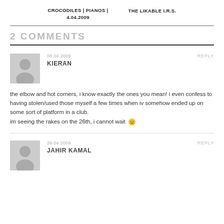CROCODILES | PIANOS | 4.04.2009    THE LIKABLE I.R.S.
2 COMMENTS
08.04.2009   REPLY
KIERAN
the elbow and hot corners, i know exactly the ones you mean! i even confess to having stolen/used those myself a few times when iv somehow ended up on some sort of platform in a club.
im seeing the rakes on the 26th, i cannot wait 🙂
26.04.2009   REPLY
JAHIR KAMAL